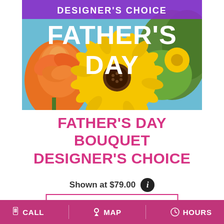[Figure (photo): Father's Day Designer's Choice flower bouquet featuring orange roses, yellow gerbera daisies, and green foliage. Purple banner at top reads 'DESIGNER'S CHOICE' and large white bold text reads 'FATHER'S DAY'.]
FATHER'S DAY BOUQUET DESIGNER'S CHOICE
Shown at $79.00
BUY NOW
CALL   MAP   HOURS